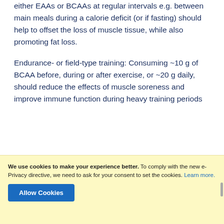either EAAs or BCAAs at regular intervals e.g. between main meals during a calorie deficit (or if fasting) should help to offset the loss of muscle tissue, while also promoting fat loss.
Endurance- or field-type training: Consuming ~10 g of BCAA before, during or after exercise, or ~20 g daily, should reduce the effects of muscle soreness and improve immune function during heavy training periods
We use cookies to make your experience better. To comply with the new e-Privacy directive, we need to ask for your consent to set the cookies. Learn more.
Allow Cookies